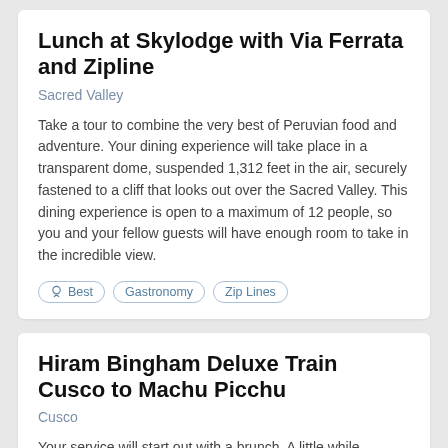Lunch at Skylodge with Via Ferrata and Zipline
Sacred Valley
Take a tour to combine the very best of Peruvian food and adventure. Your dining experience will take place in a transparent dome, suspended 1,312 feet in the air, securely fastened to a cliff that looks out over the Sacred Valley. This dining experience is open to a maximum of 12 people, so you and your fellow guests will have enough room to take in the incredible view.
Best
Gastronomy
Zip Lines
Hiram Bingham Deluxe Train Cusco to Machu Picchu
Cusco
Your service will start out with a brunch. A little while